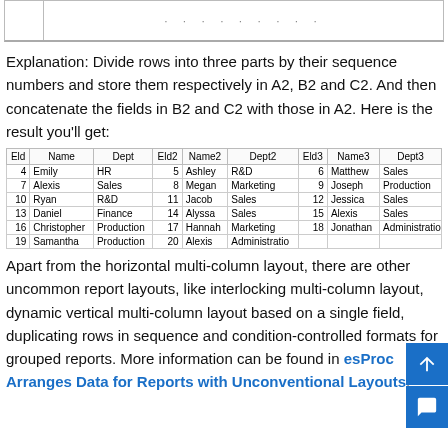| Eld | Name | Dept | Eld2 | Name2 | Dept2 | Eld3 | Name3 | Dept3 |
| --- | --- | --- | --- | --- | --- | --- | --- | --- |
| 4 | Emily | HR | 5 | Ashley | R&D | 6 | Matthew | Sales |
| 7 | Alexis | Sales | 8 | Megan | Marketing | 9 | Joseph | Production |
| 10 | Ryan | R&D | 11 | Jacob | Sales | 12 | Jessica | Sales |
| 13 | Daniel | Finance | 14 | Alyssa | Sales | 15 | Alexis | Sales |
| 16 | Christopher | Production | 17 | Hannah | Marketing | 18 | Jonathan | Administratio |
| 19 | Samantha | Production | 20 | Alexis | Administratio |  |  |  |
Explanation: Divide rows into three parts by their sequence numbers and store them respectively in A2, B2 and C2. And then concatenate the fields in B2 and C2 with those in A2. Here is the result you’ll get:
Apart from the horizontal multi-column layout, there are other uncommon report layouts, like interlocking multi-column layout, dynamic vertical multi-column layout based on a single field, duplicating rows in sequence and condition-controlled formats for grouped reports. More information can be found in esProc Arranges Data for Reports with Unconventional Layouts.